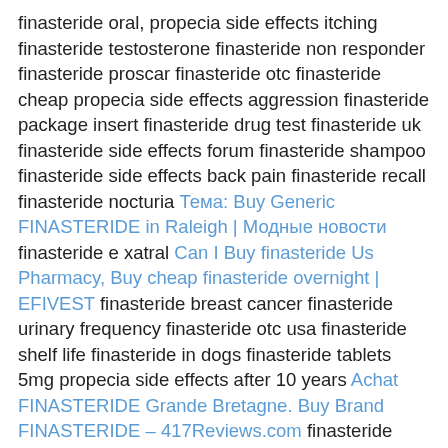finasteride oral, propecia side effects itching finasteride testosterone finasteride non responder finasteride proscar finasteride otc finasteride cheap propecia side effects aggression finasteride package insert finasteride drug test finasteride uk finasteride side effects forum finasteride shampoo finasteride side effects back pain finasteride recall finasteride nocturia Тема: Buy Generic FINASTERIDE in Raleigh | Модные новости finasteride e xatral Can I Buy finasteride Us Pharmacy, Buy cheap finasteride overnight | EFIVEST finasteride breast cancer finasteride urinary frequency finasteride otc usa finasteride shelf life finasteride in dogs finasteride tablets 5mg propecia side effects after 10 years Achat FINASTERIDE Grande Bretagne. Buy Brand FINASTERIDE – 417Reviews.com finasteride dementia finasteride side effects dry mouth Erro de banco de dados finasteride blood pressure finasteride minoxidil results finasteride what is it finasteride safety In House Only, LLC » Topic: Most popular phrasesrelated to FINASTERIDE: